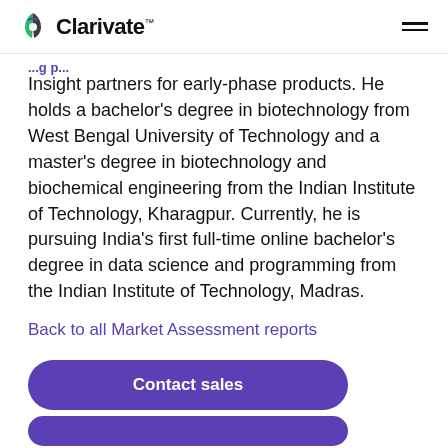Clarivate
Insight partners for early-phase products. He holds a bachelor's degree in biotechnology from West Bengal University of Technology and a master's degree in biotechnology and biochemical engineering from the Indian Institute of Technology, Kharagpur. Currently, he is pursuing India's first full-time online bachelor's degree in data science and programming from the Indian Institute of Technology, Madras.
Back to all Market Assessment reports
Contact sales